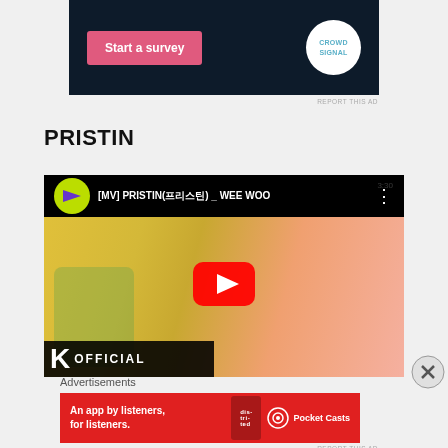[Figure (screenshot): Top advertisement banner with dark background showing 'Start a survey' pink button and CrowdSignal circular logo]
REPORT THIS AD
PRISTIN
[Figure (screenshot): YouTube video embed showing [MV] PRISTIN(프리스틴) _ WEE WOO music video thumbnail with 1theK channel icon, play button, and OFFICIAL K logo at bottom]
Advertisements
[Figure (screenshot): Pocket Casts advertisement banner on red background: 'An app by listeners, for listeners.' with Pocket Casts logo]
REPORT THIS AD